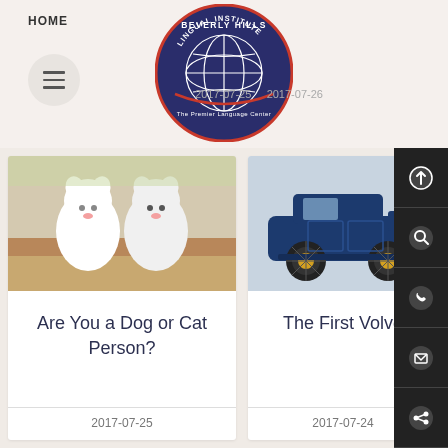HOME
[Figure (logo): Beverly Hills Lingual Institute logo — circular dark blue badge with globe and text 'The Premier Language Center']
2017-07-25 … 2017-07-26
[Figure (photo): Two white fluffy puppies/kittens sitting together outdoors]
Are You a Dog or Cat Person?
2017-07-25
[Figure (photo): A dark blue vintage Volvo open-top car from the 1920s on a light background]
The First Volvo
2017-07-24